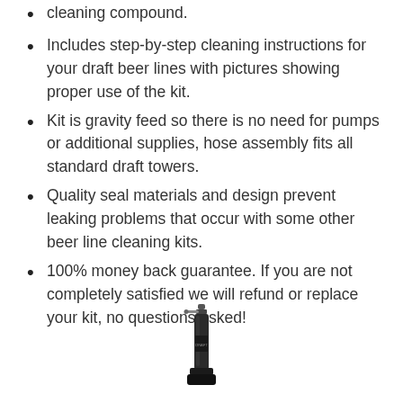cleaning compound.
Includes step-by-step cleaning instructions for your draft beer lines with pictures showing proper use of the kit.
Kit is gravity feed so there is no need for pumps or additional supplies, hose assembly fits all standard draft towers.
Quality seal materials and design prevent leaking problems that occur with some other beer line cleaning kits.
100% money back guarantee. If you are not completely satisfied we will refund or replace your kit, no questions asked!
[Figure (photo): A draft beer tap/tower product shown vertically, black color, partial view at bottom of page.]